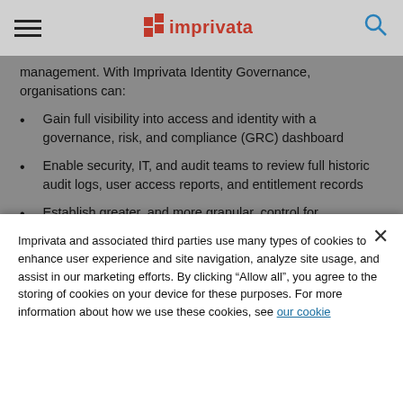Imprivata [logo] [hamburger menu] [search icon]
management. With Imprivata Identity Governance, organisations can:
Gain full visibility into access and identity with a governance, risk, and compliance (GRC) dashboard
Enable security, IT, and audit teams to review full historic audit logs, user access reports, and entitlement records
Establish greater, and more granular, control for adherence to security policies
Imprivata Identity governance simplifies how this
Imprivata and associated third parties use many types of cookies to enhance user experience and site navigation, analyze site usage, and assist in our marketing efforts. By clicking “Allow all”, you agree to the storing of cookies on your device for these purposes. For more information about how we use these cookies, see our cookie